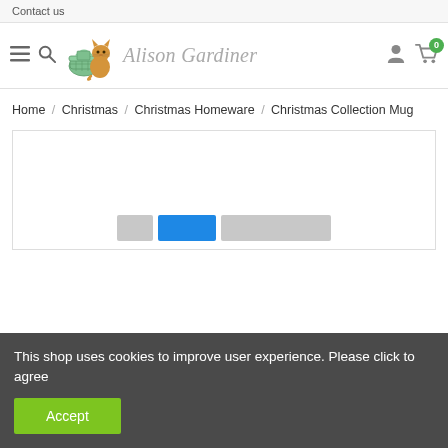Contact us
[Figure (logo): Alison Gardiner logo with illustrated cat sitting next to a gift basket, with handwritten-style brand name text]
Home / Christmas / Christmas Homeware / Christmas Collection Mug
[Figure (photo): Product image area for Christmas Collection Mug - mostly white/blank with thumbnail navigation strip at bottom]
This shop uses cookies to improve user experience. Please click to agree
Accept